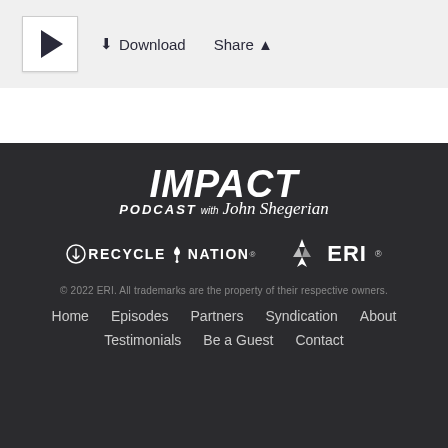[Figure (screenshot): Audio player controls bar with play button, download button, and share button on a light gray background]
[Figure (logo): Impact Podcast with John Shegerian logo in white on dark background]
[Figure (logo): Recycle Nation logo and ERI logo side by side]
© 2022 ERI. All trademarks are the property of their respective owners.
Home   Episodes   Partners   Syndication   About
Testimonials   Be a Guest   Contact